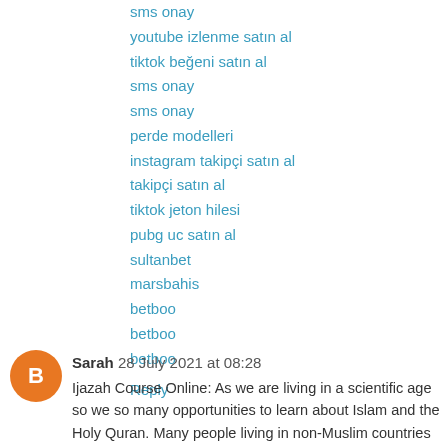sms onay
youtube izlenme satın al
tiktok beğeni satın al
sms onay
sms onay
perde modelleri
instagram takipçi satın al
takipçi satın al
tiktok jeton hilesi
pubg uc satın al
sultanbet
marsbahis
betboo
betboo
betboo
Reply
Sarah  28 July 2021 at 08:28
Ijazah Course Online: As we are living in a scientific age so we so many opportunities to learn about Islam and the Holy Quran. Many people living in non-Muslim countries wish to